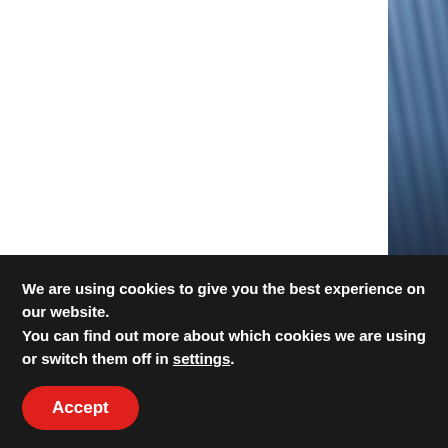[Figure (photo): Partial view of a photo showing a building or person against a blue/grey architectural background, cropped to the right edge of the page]
Use cases
We are using cookies to give you the best experience on our website.
You can find out more about which cookies we are using or switch them off in settings.
Accept